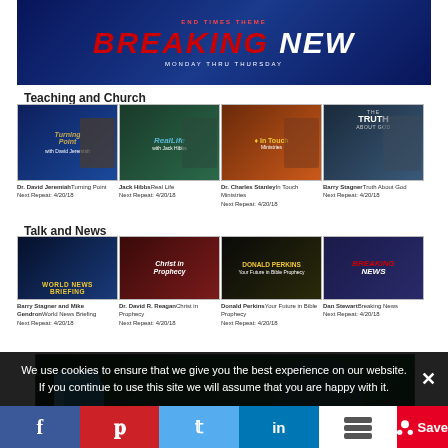[Figure (screenshot): Breaking News banner with red and white text on dark blue background, Monday thru Thursday subtitle]
Teaching and Church
[Figure (screenshot): Grid of 4 show thumbnails: Dr. David Jeremiah / Turning Point, Jack Hibbs / Real Life, Dr. Charles Stanley / In Touch Ministries, Barry Stagner / Truth About God]
Talk and News
[Figure (screenshot): Grid of 4 show thumbnails: Barry Stagner and Mike Gendron / World News Briefing, Dr. David R. Reagan / Christ in Prophecy, Donald Perkins / Your Future in Bible Prophecy, Dan Stewart / Breaking News]
[Figure (screenshot): RealLife with Jack Hibbs banner showing logo with chat bubbles and man in blue shirt against green background]
We use cookies to ensure that we give you the best experience on our website. If you continue to use this site we will assume that you are happy with it.
[Figure (screenshot): Social sharing bar with Facebook, Pinterest, Twitter, LinkedIn, Buffer/Stack, and Pinterest Save buttons]